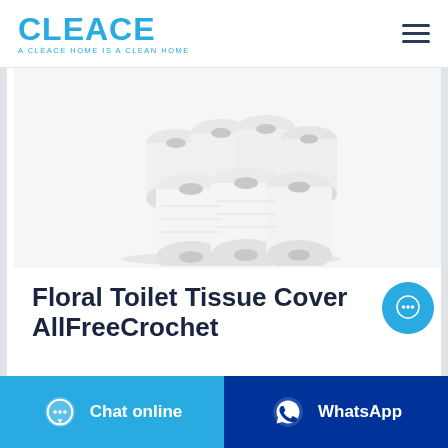[Figure (logo): CLEACE brand logo in blue with tagline 'A CLEACE HOME IS A CLEAN HOME']
[Figure (photo): Multiple white toilet paper / tissue rolls stacked and arranged on a white background]
Floral Toilet Tissue Cover AllFreeCrochet
[Figure (other): Cyan circular chat bubble button with ellipsis icon]
Chat online
WhatsApp